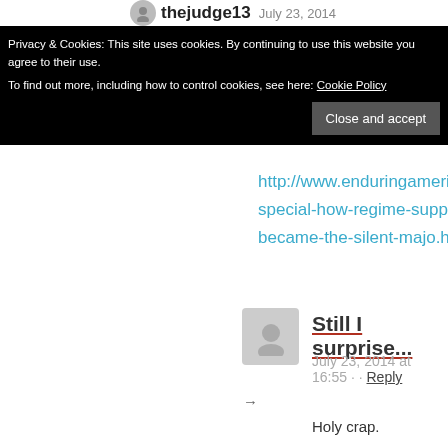thejudge13  July 23, 2014
Privacy & Cookies: This site uses cookies. By continuing to use this website you agree to their use.
To find out more, including how to control cookies, see here: Cookie Policy
Close and accept
http://www.enduringamerica.com/home/special-how-regime-supporters-became-the-silent-majo.html
Still I surprise...
July 23, 2014 at 16:55 · · Reply
→
Holy crap.